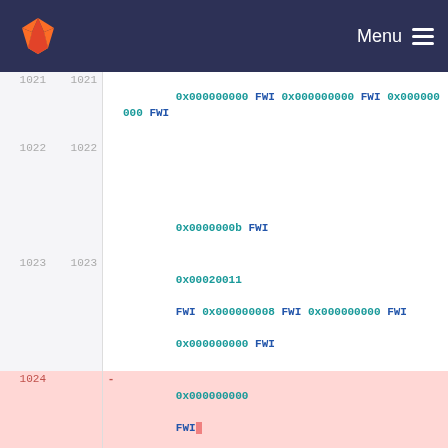GitLab — Menu
| old | new | +/- | code |
| --- | --- | --- | --- |
| 1021 | 1021 |  | 0x000000000 FWI 0x000000000 FWI 0x000000000 FWI |
| 1022 | 1022 |  | 0x0000000b FWI |
| 1023 | 1023 |  | 0x00020011 FWI 0x000000008 FWI 0x000000000 FWI 0x000000000 FWI |
| 1024 |  | - | 0x000000000 FWI |
|  | 1024 | + | 0x000000000 FWI |
| 1025 | 1025 |  | 0x00000019 FWI 0x00020011 FWI 0x000000010 FWI |
| 1026 | 1026 |  | 0x000000000 FWI 0x000000000 FWI 0x000000000 FWI |
| 1027 |  | - |  |